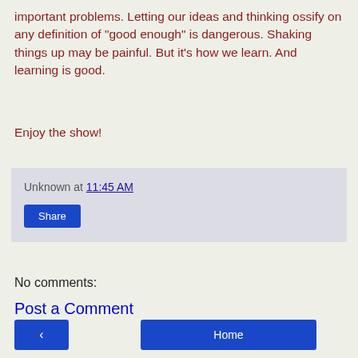important problems. Letting our ideas and thinking ossify on any definition of "good enough" is dangerous. Shaking things up may be painful. But it's how we learn. And learning is good.
Enjoy the show!
Unknown at 11:45 AM
Share
No comments:
Post a Comment
< (navigation button)
Home
View web version
Powered by Blogger.